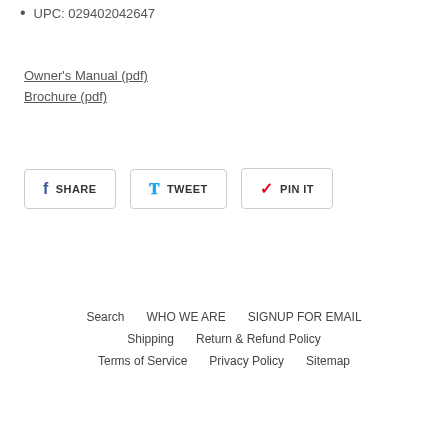UPC: 029402042647
Owner's Manual (pdf)
Brochure (pdf)
[Figure (other): Social share buttons: SHARE (Facebook), TWEET (Twitter), PIN IT (Pinterest)]
Search   WHO WE ARE   SIGNUP FOR EMAIL
Shipping   Return & Refund Policy
Terms of Service   Privacy Policy   Sitemap